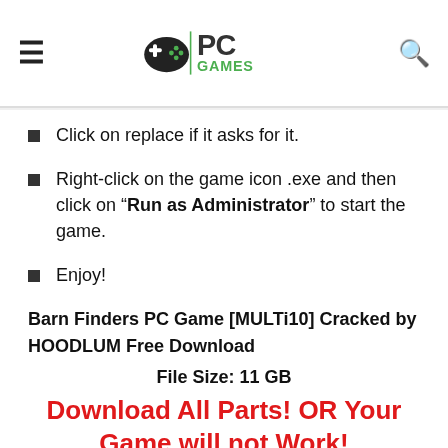[hamburger menu] [PC Games logo] [search icon]
Click on replace if it asks for it.
Right-click on the game icon .exe and then click on “Run as Administrator” to start the game.
Enjoy!
Barn Finders PC Game [MULTi10] Cracked by HOODLUM Free Download
File Size: 11 GB
Download All Parts! OR Your Game will not Work!
Download Links